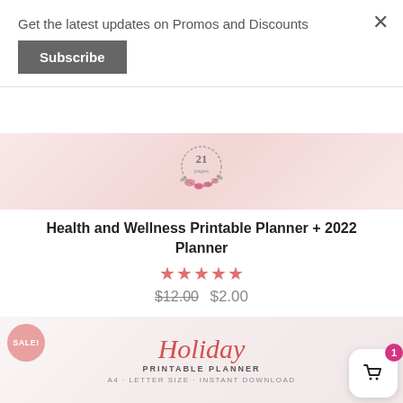Get the latest updates on Promos and Discounts
Subscribe
[Figure (illustration): Health and Wellness planner product image with floral wreath and '21 pages' text on pink background]
Health and Wellness Printable Planner + 2022 Planner
★★★★★ (star rating)
$12.00  $2.00
[Figure (illustration): Holiday Printable Planner product image with script Holiday text, PRINTABLE PLANNER subtitle, A4 · LETTER SIZE · INSTANT DOWNLOAD, SALE! badge, and shopping cart with badge showing 1]